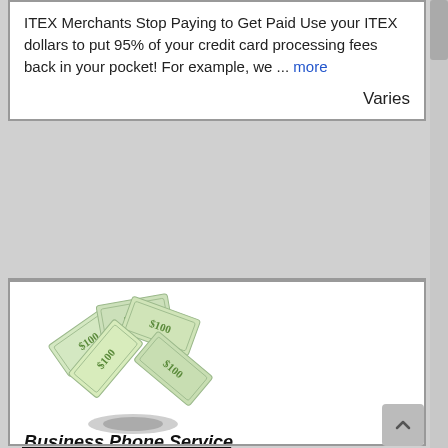ITEX Merchants Stop Paying to Get Paid Use your ITEX dollars to put 95% of your credit card processing fees back in your pocket! For example, we ... more
Varies
[Figure (illustration): Dollar bills flying out of a drain/hole, illustrated in a stylized way to represent money being wasted.]
Business Phone Service
Pensacola, FL
Using Cash to pay your phone bill is “Throwing Away Money” Use your ITEX Dollars! Cloud-based (VoIP) Business Phone Service $29.95 per mo./ext. Port existing numbers or issue new numbers includin ...